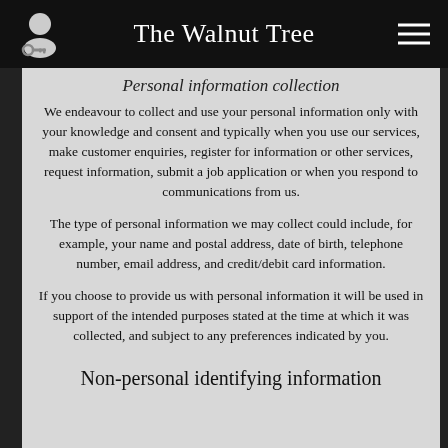The Walnut Tree
Personal information collection
We endeavour to collect and use your personal information only with your knowledge and consent and typically when you use our services, make customer enquiries, register for information or other services, request information, submit a job application or when you respond to communications from us.
The type of personal information we may collect could include, for example, your name and postal address, date of birth, telephone number, email address, and credit/debit card information.
If you choose to provide us with personal information it will be used in support of the intended purposes stated at the time at which it was collected, and subject to any preferences indicated by you.
Non-personal identifying information